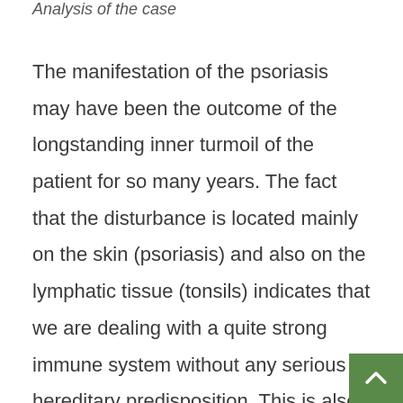Analysis of the case
The manifestation of the psoriasis may have been the outcome of the longstanding inner turmoil of the patient for so many years. The fact that the disturbance is located mainly on the skin (psoriasis) and also on the lymphatic tissue (tonsils) indicates that we are dealing with a quite strong immune system without any serious hereditary predisposition. This is also confirmed by the frequent acutes